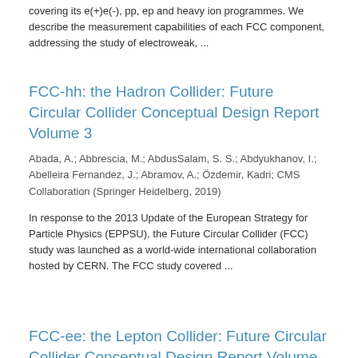covering its e(+)e(-), pp, ep and heavy ion programmes. We describe the measurement capabilities of each FCC component, addressing the study of electroweak, ...
FCC-hh: the Hadron Collider: Future Circular Collider Conceptual Design Report Volume 3
Abada, A.; Abbrescia, M.; AbdusSalam, S. S.; Abdyukhanov, I.; Abelleira Fernandez, J.; Abramov, A.; Özdemir, Kadri; CMS Collaboration (Springer Heidelberg, 2019)
In response to the 2013 Update of the European Strategy for Particle Physics (EPPSU), the Future Circular Collider (FCC) study was launched as a world-wide international collaboration hosted by CERN. The FCC study covered ...
FCC-ee: the Lepton Collider: Future Circular Collider Conceptual Design Report Volume 2
Abada, A.; Abbrescia, M.; AbdusSalam, S. S.; Abdyukhanov, I.; Fernandez, J. Abelleira; Abramov, A.; Özdemir, Kadri; CMS